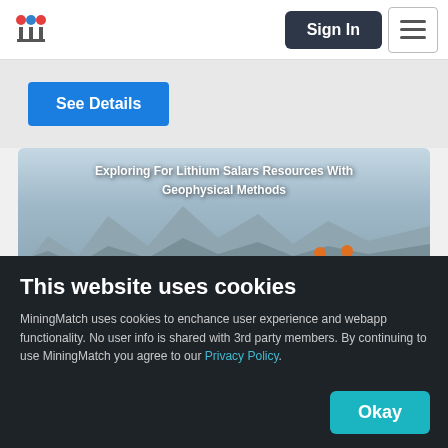MiningMatch - Sign In
See Details
[Figure (photo): Landscape photo showing lithium salar desert terrain with mountains in background and two workers in high-visibility gear. Overlay title: Exploring For Lithium Salars Resources With Geophysical Methods. Quantec Geoscience branding bar at bottom with authors Juan Pablo Frederck and Leduar Remayo Cortés.]
This website uses cookies
MiningMatch uses cookies to enchance user experience and webapp functionality. No user info is shared with 3rd party members. By continuing to use MiningMatch you agree to our Privacy Policy.
Okay